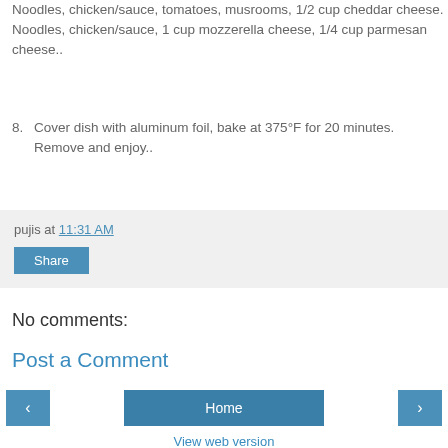Noodles, chicken/sauce, tomatoes, musrooms, 1/2 cup cheddar cheese. Noodles, chicken/sauce, 1 cup mozzerella cheese, 1/4 cup parmesan cheese..
8. Cover dish with aluminum foil, bake at 375°F for 20 minutes. Remove and enjoy..
pujis at 11:31 AM
Share
No comments:
Post a Comment
‹
Home
›
View web version
Powered by Blogger.